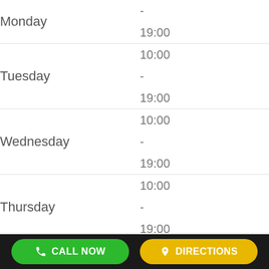| Day | Hours |
| --- | --- |
| Monday | - 19:00 |
| Tuesday | 10:00 - 19:00 |
| Wednesday | 10:00 - 19:00 |
| Thursday | 10:00 - 19:00 |
| Friday | 10:00 - 19:00 |
CALL NOW
DIRECTIONS